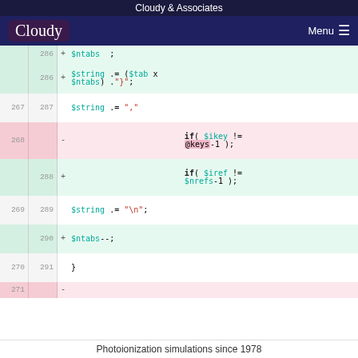Cloudy & Associates
[Figure (screenshot): Navigation bar with Cloudy logo on left and Menu hamburger icon on right, dark navy background]
Code diff view showing PHP code changes. Lines 286-291 and 267-271 with added (+) and removed (-) markers. Code includes: $ntabs; $string .= ($tab x $ntabs) ."}"; $string .= "," if( $ikey != @keys-1 ); if( $iref != $nrefs-1 ); $string .= "\n"; $ntabs--; }
Photoionization simulations since 1978